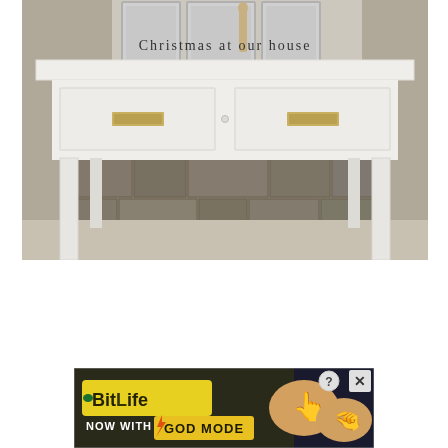[Figure (photo): A white painted console table with two drawers featuring brass handles, displayed in front of a stone wall background. Framed pictures and a figurine are visible on top of the table. Text overlay reads 'Christmas at our house' in a light serif font.]
[Figure (screenshot): Advertisement banner for BitLife game with text 'NOW WITH GOD MODE', showing cartoon hand pointer graphics on yellow/dark background with a close button (X) in the top right corner.]